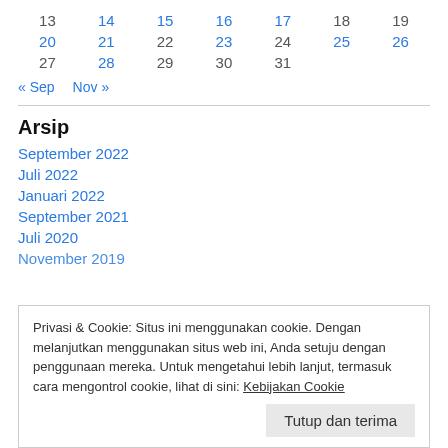| 13 | 14 | 15 | 16 | 17 | 18 | 19 |
| 20 | 21 | 22 | 23 | 24 | 25 | 26 |
| 27 | 28 | 29 | 30 | 31 |  |  |
« Sep   Nov »
Arsip
September 2022
Juli 2022
Januari 2022
September 2021
Juli 2020
Privasi & Cookie: Situs ini menggunakan cookie. Dengan melanjutkan menggunakan situs web ini, Anda setuju dengan penggunaan mereka. Untuk mengetahui lebih lanjut, termasuk cara mengontrol cookie, lihat di sini: Kebijakan Cookie
Tutup dan terima
November 2019